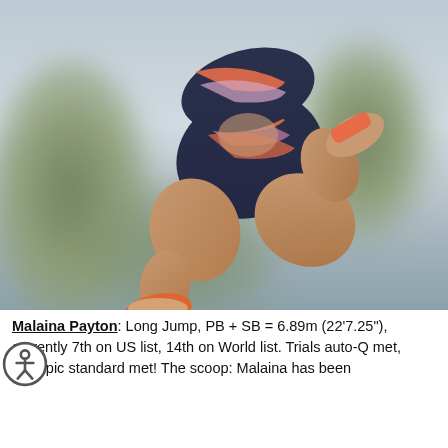[Figure (photo): An athlete mid-jump performing a long jump. The athlete is wearing a dark navy athletic outfit with coral/orange and purple diagonal stripes. They are wearing orange spikes. The background is blurred with green trees and a light sky.]
Malaina Payton: Long Jump, PB + SB = 6.89m (22'7.25"), currently 7th on US list, 14th on World list. Trials auto-Q met, Olympic standard met! The scoop: Malaina has been